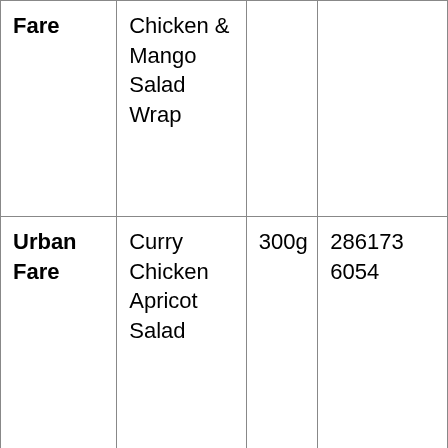| Fare | Chicken & Mango Salad Wrap |  |  |
| Urban Fare | Curry Chicken Apricot Salad | 300g | 286173 6054 |
| Farm Boy | Diamond | Medium | N/A |